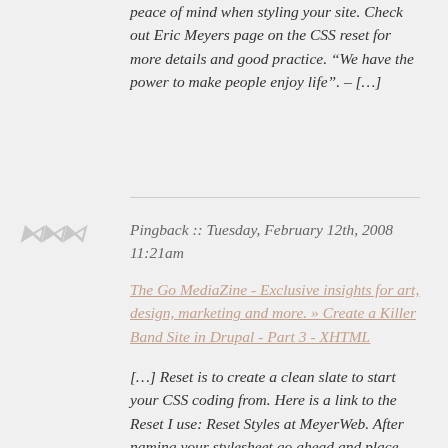peace of mind when styling your site. Check out Eric Meyers page on the CSS reset for more details and good practice. “We have the power to make people enjoy life”. – […]
Pingback :: Tuesday, February 12th, 2008 11:21am
The Go MediaZine - Exclusive insights for art, design, marketing and more. » Create a Killer Band Site in Drupal - Part 3 - XHTML
[…] Reset is to create a clean slate to start your CSS coding from. Here is a link to the Reset I use: Reset Styles at MeyerWeb. After naming your stylesheet go ahead and place the reset […]
Pingback :: Thursday, February 21st, 2008 4:00am
Shizamed » 3 Inspirational Web Design Quotes from Industry Leaders